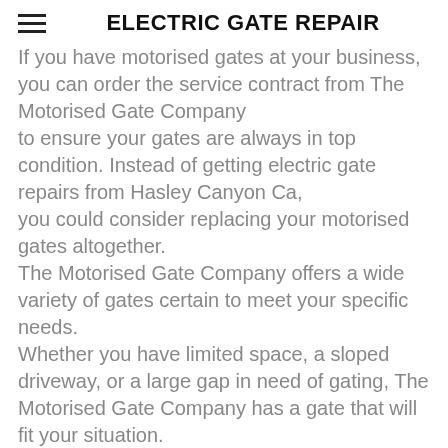ELECTRIC GATE REPAIR
If you have motorised gates at your business, you can order the service contract from The Motorised Gate Company to ensure your gates are always in top condition. Instead of getting electric gate repairs from Hasley Canyon Ca, you could consider replacing your motorised gates altogether. The Motorised Gate Company offers a wide variety of gates certain to meet your specific needs. Whether you have limited space, a sloped driveway, or a large gap in need of gating, The Motorised Gate Company has a gate that will fit your situation. All of their gates can be customised to the colour and style you desire.